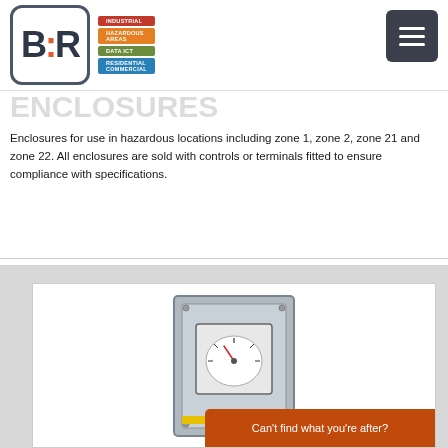[Figure (logo): B:R logo with colored category pills: Industrial (red), Hazardous Areas (orange), Data ICT (green), Residential Commercial (blue)]
ENCLOSURES
Enclosures for use in hazardous locations including zone 1, zone 2, zone 21 and zone 22. All enclosures are sold with controls or terminals fitted to ensure compliance with specifications.
[Figure (photo): Industrial enclosure with analog gauge meter mounted on front panel]
Can't find what you're after?